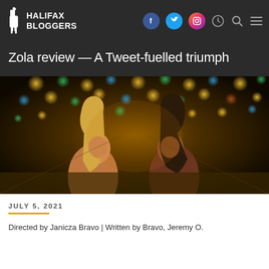HALIFAX BLOGGERS
Zola review — A Tweet-fuelled triumph
[Figure (photo): Two women facing each other in a colorful mirror room with bokeh lights in green, yellow, and teal. One has long blonde hair, the other has long dark hair. Both are dressed in evening attire.]
JULY 5, 2021
Directed by Janicza Bravo | Written by Bravo, Jeremy O.